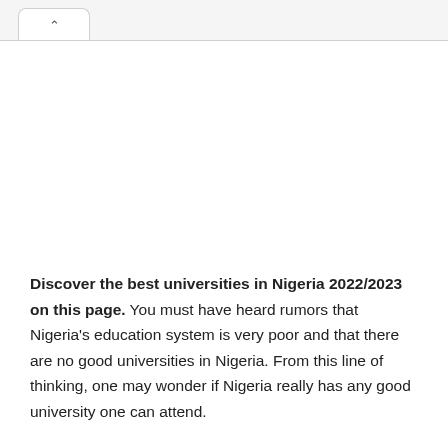Discover the best universities in Nigeria 2022/2023 on this page. You must have heard rumors that Nigeria's education system is very poor and that there are no good universities in Nigeria. From this line of thinking, one may wonder if Nigeria really has any good university one can attend.